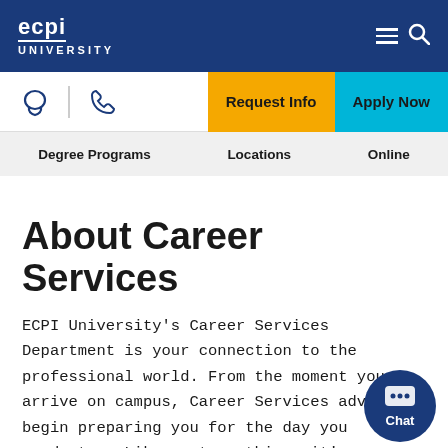ecpi UNIVERSITY
Request Info  Apply Now
Degree Programs  Locations  Online
About Career Services
ECPI University's Career Services Department is your connection to the professional world. From the moment you arrive on campus, Career Services advisors begin preparing you for the day you graduate.  Like most anything, it's a process, and here's how it works:
Freshman Orientation – learn the basics about resumes, cover letters, and